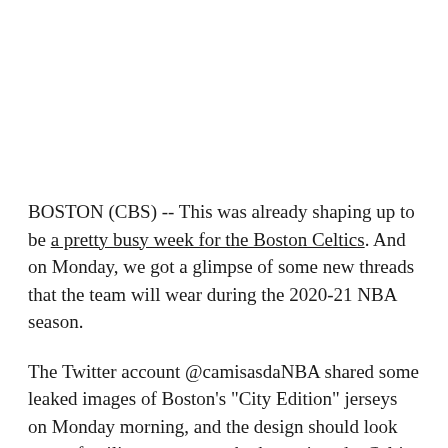BOSTON (CBS) -- This was already shaping up to be a pretty busy week for the Boston Celtics. And on Monday, we got a glimpse of some new threads that the team will wear during the 2020-21 NBA season.
The Twitter account @camisasdaNBA shared some leaked images of Boston's "City Edition" jerseys on Monday morning, and the design should look pretty familiar to anyone who has enjoyed a Celtics home game: